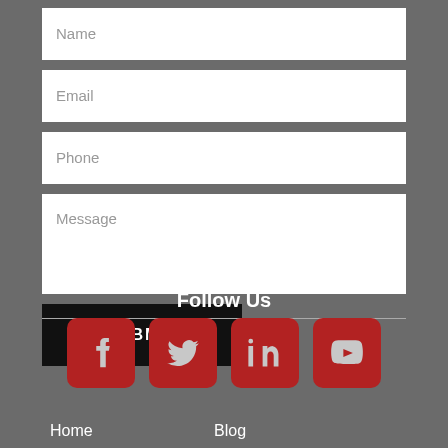[Figure (screenshot): Contact form with Name, Email, Phone, Message fields and Submit button]
Follow Us
[Figure (infographic): Social media icons: Facebook, Twitter, LinkedIn, YouTube]
Home
Blog